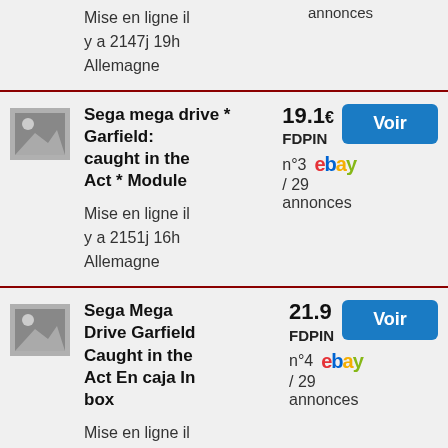Mise en ligne il y a 2147j 19h
Allemagne
annonces
Sega mega drive * Garfield: caught in the Act * Module
Mise en ligne il y a 2151j 16h
Allemagne
19.1€ FDPIN n°3 / 29 annonces
Sega Mega Drive Garfield Caught in the Act En caja In box
Mise en ligne il y a 2131j 11h
Espagne
21.9€ FDPIN n°4 / 29 annonces